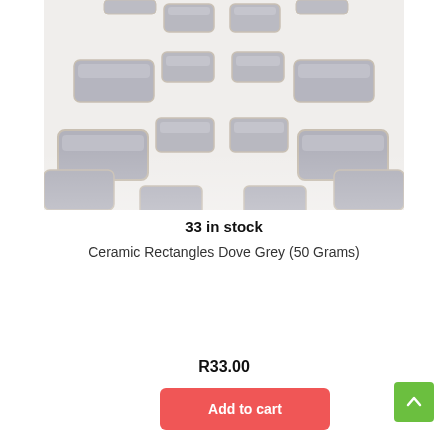[Figure (photo): Close-up photo of multiple grey ceramic rectangle tiles/beads arranged on a white surface, showing their glossy dove grey glaze and rectangular shape]
33 in stock
Ceramic Rectangles Dove Grey (50 Grams)
R33.00
Add to cart